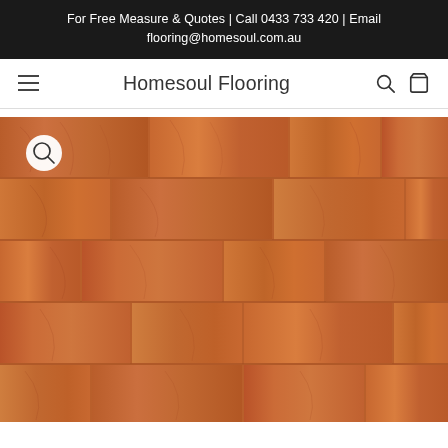For Free Measure & Quotes | Call 0433 733 420 | Email flooring@homesoul.com.au
Homesoul Flooring
[Figure (photo): Close-up photograph of warm reddish-brown hardwood timber flooring with visible wood grain patterns and plank joints, with a circular zoom/magnify button overlay in the top-left corner]